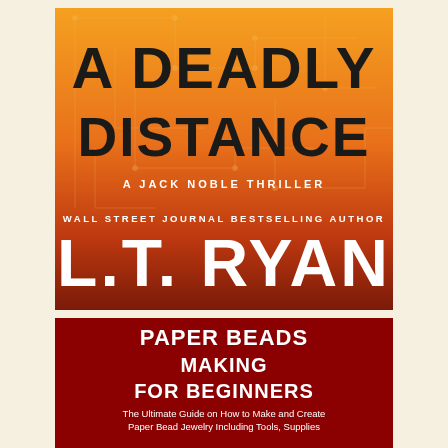[Figure (illustration): Book cover for 'A Deadly Distance: A Jack Noble Thriller' by L.T. Ryan (Wall Street Journal Bestselling Author). Orange and dark gradient background with circuit/map line patterns. Large bold dark text for title, white text for author name.]
[Figure (illustration): Book cover for 'Paper Beads Making For Beginners: The Ultimate Guide on How to Make and Create Paper Bead Jewelry Including Tools, Supplies...' Dark red/maroon background with white bold text.]